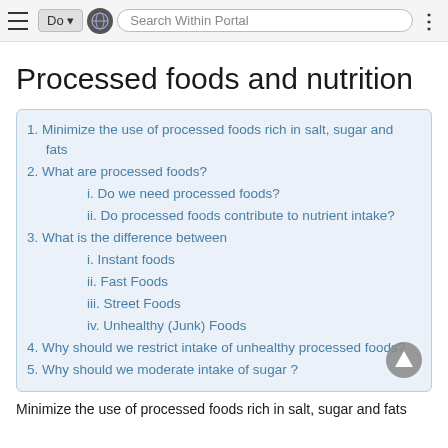Do ▾  [globe]  Search Within Portal  [more]
Processed foods and nutrition
1. Minimize the use of processed foods rich in salt, sugar and fats
2. What are processed foods?
i. Do we need processed foods?
ii. Do processed foods contribute to nutrient intake?
3. What is the difference between
i. Instant foods
ii. Fast Foods
iii. Street Foods
iv. Unhealthy (Junk) Foods
4. Why should we restrict intake of unhealthy processed foods?
5. Why should we moderate intake of sugar ?
Minimize the use of processed foods rich in salt, sugar and fats